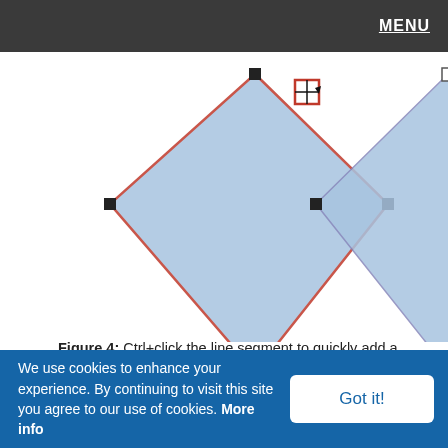MENU
[Figure (screenshot): Two diamond/pentagon shapes shown in Edit Points mode. The left shape has a cursor with a crosshair icon and a red-bordered square near the top vertex, indicating adding a new vertex. Both shapes have black square handles at their vertices on a white background.]
Figure 4: Ctrl+click the line segment to quickly add a new vertx to the shape
Delete Points (Vertexes)
Follow these steps to delete existing vertexes:
1. Make sure you are in Edit Points mode (just right-click and
We use cookies to enhance your experience. By continuing to visit this site you agree to our use of cookies. More info